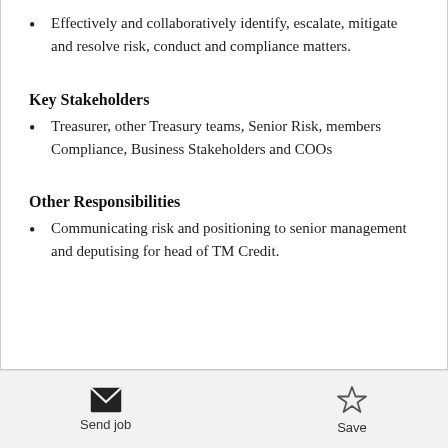Effectively and collaboratively identify, escalate, mitigate and resolve risk, conduct and compliance matters.
Key Stakeholders
Treasurer, other Treasury teams, Senior Risk, members Compliance, Business Stakeholders and COOs
Other Responsibilities
Communicating risk and positioning to senior management and deputising for head of TM Credit.
Send job | Save